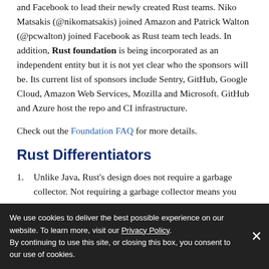and Facebook to lead their newly created Rust teams. Niko Matsakis (@nikomatsakis) joined Amazon and Patrick Walton (@pcwalton) joined Facebook as Rust team tech leads. In addition, Rust foundation is being incorporated as an independent entity but it is not yet clear who the sponsors will be. Its current list of sponsors include Sentry, GitHub, Google Cloud, Amazon Web Services, Mozilla and Microsoft. GitHub and Azure host the repo and CI infrastructure.
Check out the Foundation FAQ for more details.
Rust Differentiators
Unlike Java, Rust's design does not require a garbage collector. Not requiring a garbage collector means you don't incur runtime
We use cookies to deliver the best possible experience on our website. To learn more, visit our Privacy Policy. By continuing to use this site, or closing this box, you consent to our use of cookies.